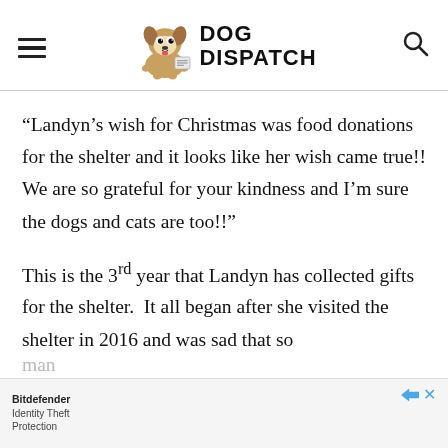DOG DISPATCH
“Landyn’s wish for Christmas was food donations for the shelter and it looks like her wish came true!! We are so grateful for your kindness and I’m sure the dogs and cats are too!!”
This is the 3rd year that Landyn has collected gifts for the shelter. It all began after she visited the shelter in 2016 and was sad that so man[y]...
[Figure (other): Bitdefender Identity Theft Protection advertisement banner at bottom of page]